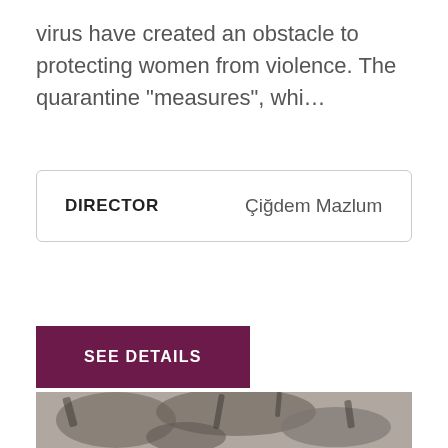virus have created an obstacle to protecting women from violence. The quarantine "measures", whi...
| DIRECTOR |  |
| --- | --- |
| Çiğdem Mazlum |  |
SEE DETAILS
[Figure (photo): Dark and desaturated photograph showing what appears to be branches or foliage against a light mottled background]